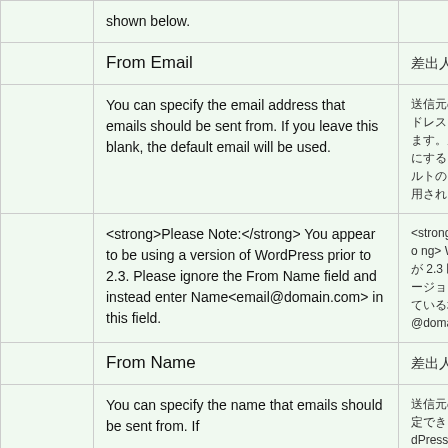|  | English | Japanese |
| --- | --- | --- |
|  | shown below. |  |
|  | From Email | 差出人 |
|  | You can specify the email address that emails should be sent from. If you leave this blank, the default email will be used. | 送信元のメールアドレスを指定できます。 |
|  | <strong>Please Note:</strong> You appear to be using a version of WordPress prior to 2.3. Please ignore the From Name field and instead enter Name<email@domain.com> in this field. | <strong>注意</strong> WordPress が 2.3 以前の [バージョン] を使っている場合"<email@domain 入力 |
|  | From Name | 差出人名 |
|  | You can specify the name that emails should be sent from. If | 送信元の名前を指定できます。WordPress |